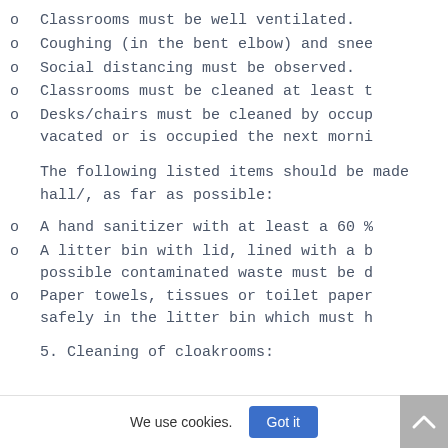o   Classrooms must be well ventilated.
o   Coughing (in the bent elbow) and snee
o   Social distancing must be observed.
o   Classrooms must be cleaned at least t
o   Desks/chairs must be cleaned by occup
    vacated or is occupied the next morni
The following listed items should be made hall/, as far as possible:
o   A hand sanitizer with at least a 60 %
o   A litter bin with lid, lined with a b
    possible contaminated waste must be d
o   Paper towels, tissues or toilet paper
    safely in the litter bin which must h
5. Cleaning of cloakrooms:
We use cookies.